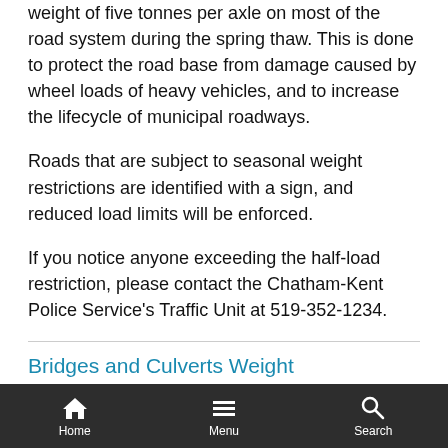Vehicles are restricted to a maximum loaded weight of five tonnes per axle on most of the road system during the spring thaw. This is done to protect the road base from damage caused by wheel loads of heavy vehicles, and to increase the lifecycle of municipal roadways.
Roads that are subject to seasonal weight restrictions are identified with a sign, and reduced load limits will be enforced.
If you notice anyone exceeding the half-load restriction, please contact the Chatham-Kent Police Service's Traffic Unit at 519-352-1234.
Bridges and Culverts Weight
Home   Menu   Search